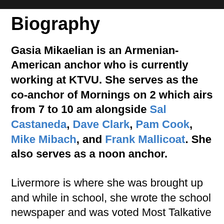Biography
Gasia Mikaelian is an Armenian-American anchor who is currently working at KTVU. She serves as the co-anchor of Mornings on 2 which airs from 7 to 10 am alongside Sal Castaneda, Dave Clark, Pam Cook, Mike Mibach, and Frank Mallicoat. She also serves as a noon anchor.
Livermore is where she was brought up and while in school, she wrote the school newspaper and was voted Most Talkative